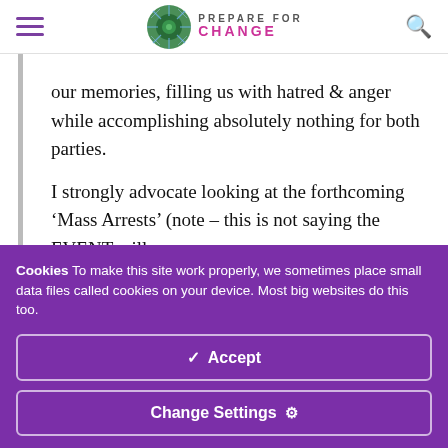Prepare For Change
our memories, filling us with hatred & anger while accomplishing absolutely nothing for both parties.

I strongly advocate looking at the forthcoming ‘Mass Arrests’ (note – this is not saying the EVENT will
Cookies To make this site work properly, we sometimes place small data files called cookies on your device. Most big websites do this too.
Accept
Change Settings